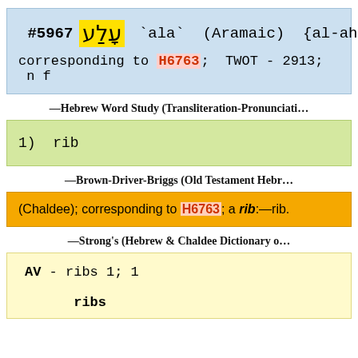#5967 עָלַע `ala` (Aramaic) {al-ah'} corresponding to H6763; TWOT - 2913; n f
—Hebrew Word Study (Transliteration-Pronunciati…
1) rib
—Brown-Driver-Briggs (Old Testament Hebr…
(Chaldee); corresponding to H6763; a rib:—rib.
—Strong's (Hebrew & Chaldee Dictionary o…
AV - ribs 1; 1

    ribs